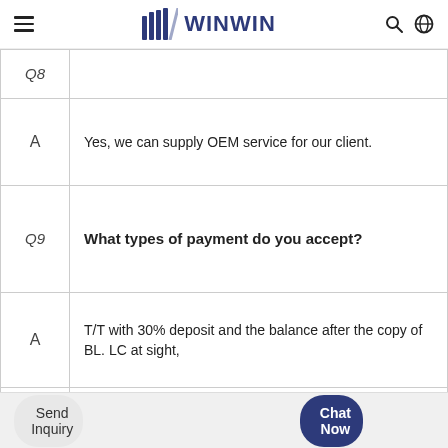WINWIN
| Label | Content |
| --- | --- |
| Q8 |  |
| A | Yes, we can supply OEM service for our client. |
| Q9 | What types of payment do you accept? |
| A | T/T with 30% deposit and the balance after the copy of BL. LC at sight, |
| Q10 | What price term do you make usually? |
Send Inquiry
Chat Now